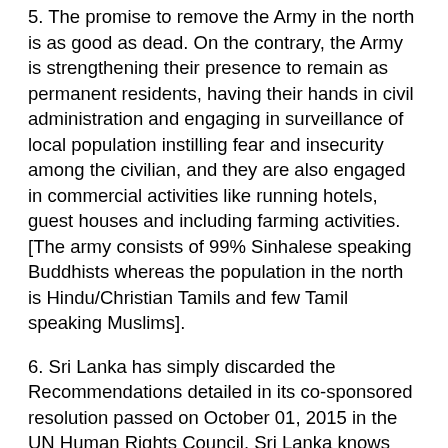5. The promise to remove the Army in the north is as good as dead. On the contrary, the Army is strengthening their presence to remain as permanent residents, having their hands in civil administration and engaging in surveillance of local population instilling fear and insecurity among the civilian, and they are also engaged in commercial activities like running hotels, guest houses and including farming activities. [The army consists of 99% Sinhalese speaking Buddhists whereas the population in the north is Hindu/Christian Tamils and few Tamil speaking Muslims].
6. Sri Lanka has simply discarded the Recommendations detailed in its co-sponsored resolution passed on October 01, 2015 in the UN Human Rights Council. Sri Lanka knows pretty well as to how to convince the UN as to its failure or delay to implement the same. Dying along with these proposals is the much expected LLRC Recommendations.
7. The hope that the proposed new constitution will include and guarantee proposals to solve the Tamils' problems has evaporated as one of the preambles' objectives, namely “to solve the national ethnic question and issues” has been deleted to accommodate Sinhalese extremists who protested it as irrelevant, being a non-issue.
8. The inordinate delay in filing charges against past politicians for corruption, misuse of power and instead some of them are